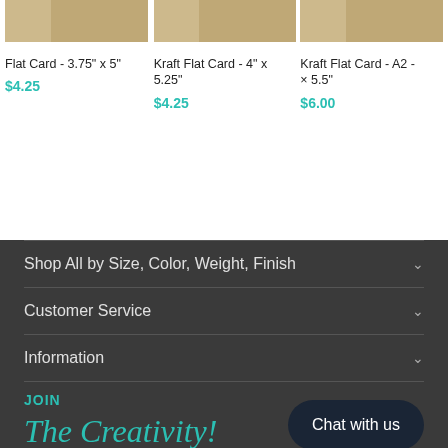[Figure (photo): Product image for Flat Card 3.75x5 showing kraft-colored card thumbnail]
Flat Card - 3.75" x 5"
$4.25
[Figure (photo): Product image for Kraft Flat Card 4x5.25 showing kraft-colored card thumbnail]
Kraft Flat Card - 4" x 5.25"
$4.25
[Figure (photo): Product image for Kraft Flat Card A2 showing kraft-colored card thumbnail]
Kraft Flat Card - A2 - × 5.5"
$6.00
Shop All by Size, Color, Weight, Finish
Customer Service
Information
JOIN
The Creativity!
Chat with us